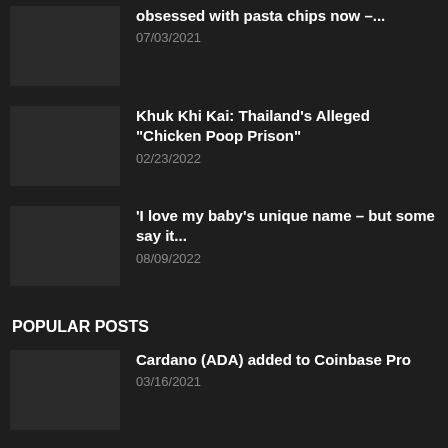obsessed with pasta chips now –...
07/03/2021
Khuk Khi Kai: Thailand’s Alleged “Chicken Poop Prison”
02/23/2022
‘I love my baby’s unique name – but some say it...
08/09/2022
POPULAR POSTS
Cardano (ADA) added to Coinbase Pro
03/16/2021
This Banana Bread With Sour Cream